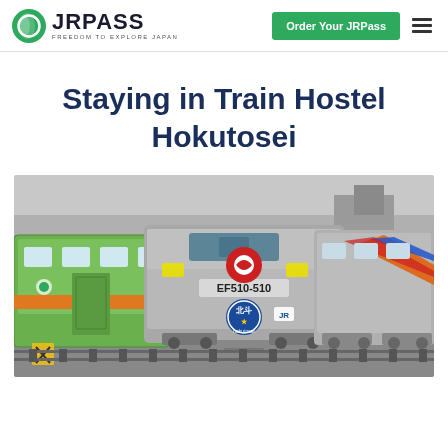JRPASS | FREEDOM TO EXPLORE JAPAN | Order Your JRPass
Staying in Train Hostel Hokutosei
[Figure (photo): Photograph of the EF510-510 Hokutosei locomotive at a train station, flanked by a green train with orange stripe on the left and a grey train with colorful streak design on the right.]